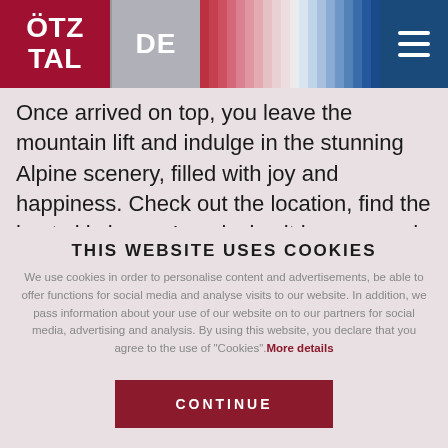ÖTZ TAL | DE
Once arrived on top, you leave the mountain lift and indulge in the stunning Alpine scenery, filled with joy and happiness. Check out the location, find the best ski slopes. I am lucky: it has snowed overnight. What a great pleasure gliding on the soft, freshly
THIS WEBSITE USES COOKIES
We use cookies in order to personalise content and advertisements, be able to offer functions for social media and analyse visits to our website. In addition, we pass information about your use of our website on to our partners for social media, advertising and analysis. By using this website, you declare that you agree to the use of "Cookies". More details
CONTINUE